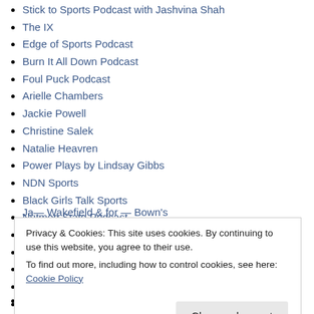Stick to Sports Podcast with Jashvina Shah
The IX
Edge of Sports Podcast
Burn It All Down Podcast
Foul Puck Podcast
Arielle Chambers
Jackie Powell
Christine Salek
Natalie Heavren
Power Plays by Lindsay Gibbs
NDN Sports
Black Girls Talk Sports
Nutmeg State Podcast
Throwing Shades Podcast
Avry's Sport Show
Locked On Canadiens
Locked on Flyers
Locked on Kraken
Privacy & Cookies: This site uses cookies. By continuing to use this website, you agree to their use. To find out more, including how to control cookies, see here: Cookie Policy
Just Women's Sports